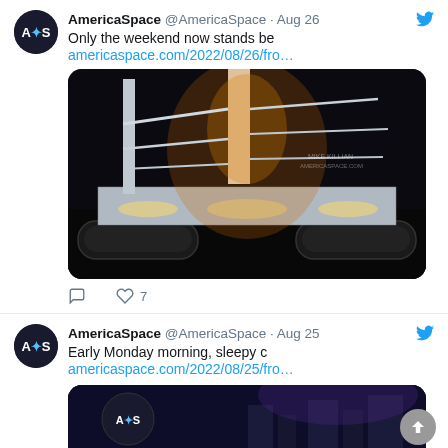AmericaSpace @AmericaSpace · Aug 26
Only the weekend now stands be
americaspace.com/2022/08/26/fro…
[Figure (photo): NASA SLS rocket on crawler-transporter at night, brightly lit with orange and white lights, viewed from low angle]
7 likes
AmericaSpace @AmericaSpace · Aug 25
Early Monday morning, sleepy c
americaspace.com/2022/08/25/fro…
[Figure (photo): Partial view of space-related image with AmericaSpace logo, dark blue background]